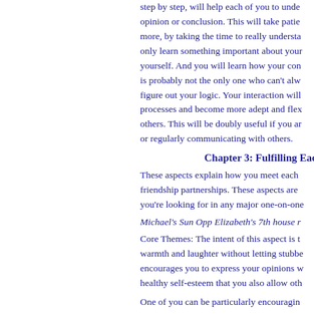step by step, will help each of you to unde opinion or conclusion. This will take patie more, by taking the time to really understa only learn something important about your yourself. And you will learn how your con is probably not the only one who can't alw figure out your logic. Your interaction will processes and become more adept and flex others. This will be doubly useful if you ar or regularly communicating with others.
Chapter 3: Fulfilling Each
These aspects explain how you meet each friendship partnerships. These aspects are you're looking for in any major one-on-one
Michael's Sun Opp Elizabeth's 7th house r
Core Themes: The intent of this aspect is t warmth and laughter without letting stubbe encourages you to express your opinions w healthy self-esteem that you also allow oth
One of you can be particularly encouragin